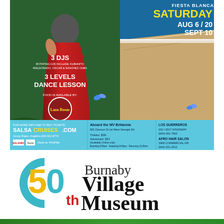[Figure (infographic): Fiesta Blanca salsa cruise advertisement featuring a woman in a red dress on a yacht deck. Text: FIESTA BLANCA, SATURDAY, AUG 6 / 20, SEPT 10, 3 DJS (rotating DJs include: Kubanito Maldonado, Oscar & Sanchez Cuba), 3 LEVELS DANCE LESSON, FOOD IS AVAILABLE BY: [restaurant logo]. Info bar: For more info and to buy tickets: SALSACRUISES.COM, Group Rates: Angelina 604-312-6773. Aboard the MV Britannia, 601 Davison St (at West Georgia St). Tickets: $39, Advanced: $31 (Available Online only). LOS GUERREROS, 102/2017 Kingsway, (604) 461-7563. AFRO HAIR SALON, 1968 Commercial Dr., (604) 251-2512.]
[Figure (logo): Burnaby Village Museum 50th anniversary logo. Colorful '50th' numeral with teal, gold, and red circular design elements, accompanied by text 'Burnaby Village Museum' in serif font.]
[Figure (photo): Partial view of green/floral background strip at bottom of page.]